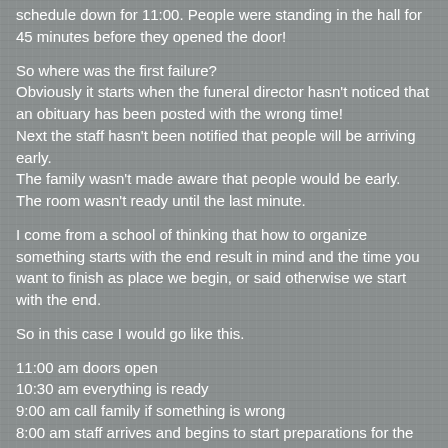schedule down for 11:00. People were standing in the hall for 45 minutes before they opened the door!
So where was the first failure?
Obviously it starts when the funeral director hasn't noticed that an obituary has been posted with the wrong time!
Next the staff hasn't been notified that people will be arriving early.
The family wasn't made aware that people would be early.
The room wasn't ready until the last minute.
I come from a school of thinking that how to organize something starts with the end result in mind and the time you want to finish as place we begin, or said otherwise we start with the end.
So in this case I would go like this.
11:00 am doors open
10:30 am everything is ready
9:00 am call family if something is wrong
8:00 am staff arrives and begins to start preparations for the day
Previous day, verify all the obituary ads, online and paper to be able to anticipate the schedule for the